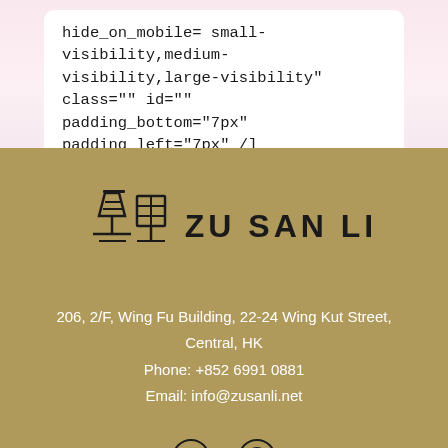hide_on_mobile= small-visibility,medium-visibility,large-visibility" class="" id="" padding_bottom="7px" padding_left="7px" /]
[Figure (logo): Zu San Li logo with stylized Chinese characters icon and text ZU SAN LI]
206, 2/F, Wing Fu Building, 22-24 Wing Kut Street, Central, HK
Phone: +852 6991 0881
Email: info@zusanli.net
[Figure (illustration): Facebook and WhatsApp social media icons at the bottom]